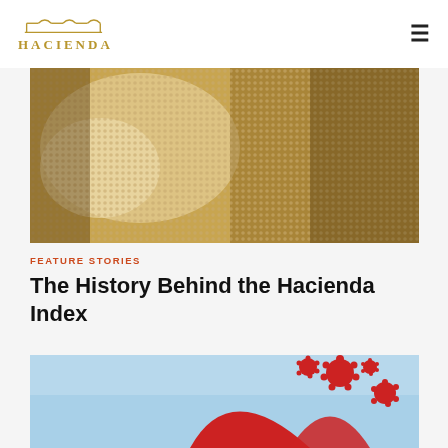[Figure (logo): Hacienda logo with arch icon above text in gold/brown color]
[Figure (photo): Sepia-toned halftone dot pattern image showing a figure or person, abstract textured appearance]
FEATURE STORIES
The History Behind the Hacienda Index
[Figure (illustration): Illustration showing a red shape (shark fin or similar) with red coronavirus/COVID-19 virus particles on a light blue background]